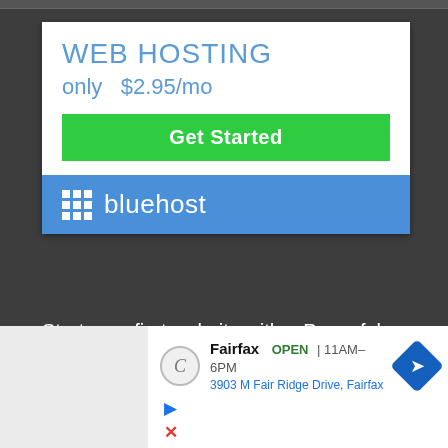[Figure (screenshot): Bluehost web hosting advertisement banner showing 'WEB HOSTING only $2.95/mo' with a green 'Get Started' button and Bluehost logo on blue background]
Start your first website with a Powerful webhosting service of bluehost in affordable price, read my guide on how to start a blog clicking here.
[Figure (screenshot): Google Maps advertisement showing Fairfax store location, OPEN 11AM-6PM, address 3903 M Fair Ridge Drive, Fairfax, with navigation icon]